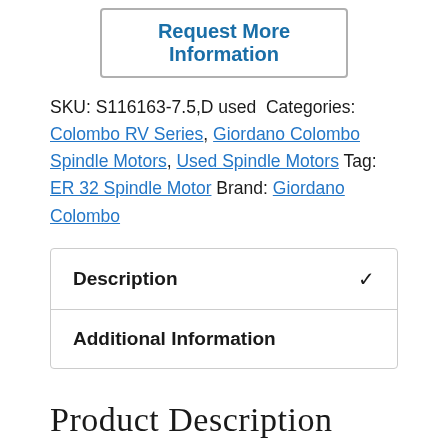Request More Information
SKU: S116163-7.5,D used Categories: Colombo RV Series, Giordano Colombo Spindle Motors, Used Spindle Motors Tag: ER 32 Spindle Motor Brand: Giordano Colombo
Description ✓
Additional Information
Product Description
Giordano Colombo RV series electric spindle motor, Colombo RV 116/22 FB3 CPE, MTC (manual tool change), 7.5 hp / 5.5 kW, 230 V / 460 V, Used